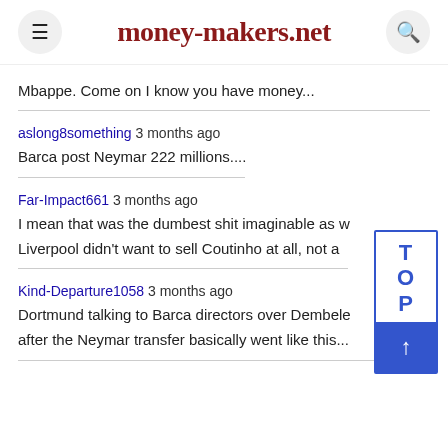money-makers.net
Mbappe. Come on I know you have money...
aslong8something 3 months ago
Barca post Neymar 222 millions....
Far-Impact661 3 months ago
I mean that was the dumbest shit imaginable as w
Liverpool didn't want to sell Coutinho at all, not a
Kind-Departure1058 3 months ago
Dortmund talking to Barca directors over Dembele after the Neymar transfer basically went like this...